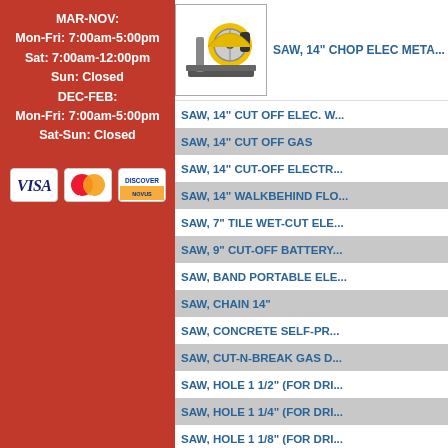MAR-NOV:
Mon-Fri: 7:00am-5:00pm
Sat: 7:00am-12:00pm
Sun: Closed
DEC-FEB:
Mon-Fri: 7:00am-5:00pm
Sat-Sun: Closed
[Figure (logo): Payment icons: VISA, MasterCard, Discover NOVUS]
[Figure (photo): 14 inch chop electric metal saw - yellow and black tool]
SAW, 14" CHOP ELEC META...
SAW, 14" CUT OFF ELEC. W...
SAW, 14" CUT OFF GAS
SAW, 14" CUT-OFF ELECTR...
SAW, 14" WALKBEHIND FLO...
SAW, 7" TILE WET-CUT ELE...
SAW, 9" CUT-OFF BATTERY...
SAW, BAND PORTABLE ELE...
SAW, CHAIN 14"
SAW, CONCRETE SELF-PR...
SAW, CUT-N-BREAK GAS D...
SAW, HOLE 1 1/2" (FOR DRI...
SAW, HOLE 1 1/4" (FOR DRI...
SAW, HOLE 1 1/8" (FOR DRI...
SAW, HOLE 1 3/4" (FOR DRI...
SAW, HOLE 1 3/8" (FOR DRI...
SAW, HOLE 1" (FOR DRILLS...
SAW, HOLE 2" (FOR DRILLS...